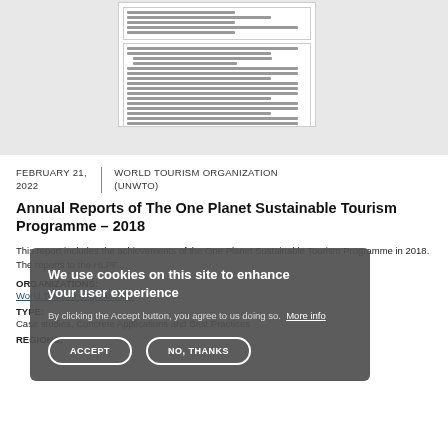[Figure (screenshot): Document preview thumbnail showing a scanned report page with text lines and a bordered section]
FEBRUARY 21, 2022
WORLD TOURISM ORGANIZATION (UNWTO)
Annual Reports of The One Planet Sustainable Tourism Programme – 2018
This report includes the achievements of the One Planet Sustainable Tourism Programme in 2018. The reports to the HLPF...
ORGANIZATIONS:
World Tourism Organization
TYPE:
Case studies, Concrete Applications and Best Practices
REGIONS:
[Figure (screenshot): Cookie consent overlay: 'We use cookies on this site to enhance your user experience. By clicking the Accept button, you agree to us doing so. More info' with ACCEPT and NO, THANKS buttons]